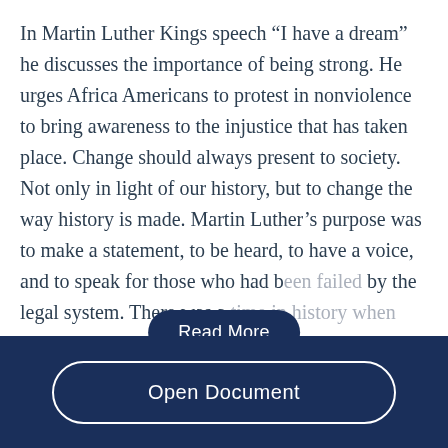In Martin Luther Kings speech “I have a dream” he discusses the importance of being strong. He urges Africa Americans to protest in nonviolence to bring awareness to the injustice that has taken place. Change should always present to society. Not only in light of our history, but to change the way history is made. Martin Luther’s purpose was to make a statement, to be heard, to have a voice, and to speak for those who had been failed by the legal system. There was a time in history when injustice...
Open Document